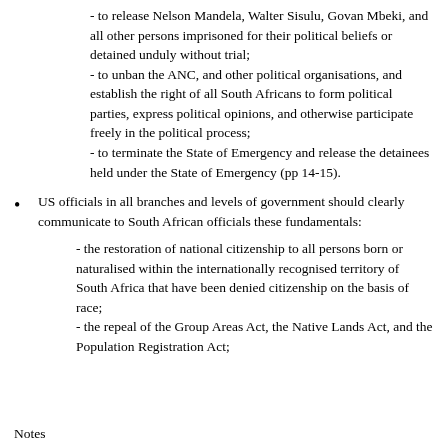- to release Nelson Mandela, Walter Sisulu, Govan Mbeki, and all other persons imprisoned for their political beliefs or detained unduly without trial;
- to unban the ANC, and other political organisations, and establish the right of all South Africans to form political parties, express political opinions, and otherwise participate freely in the political process;
- to terminate the State of Emergency and release the detainees held under the State of Emergency (pp 14-15).
US officials in all branches and levels of government should clearly communicate to South African officials these fundamentals:
- the restoration of national citizenship to all persons born or naturalised within the internationally recognised territory of South Africa that have been denied citizenship on the basis of race;
- the repeal of the Group Areas Act, the Native Lands Act, and the Population Registration Act;
Notes